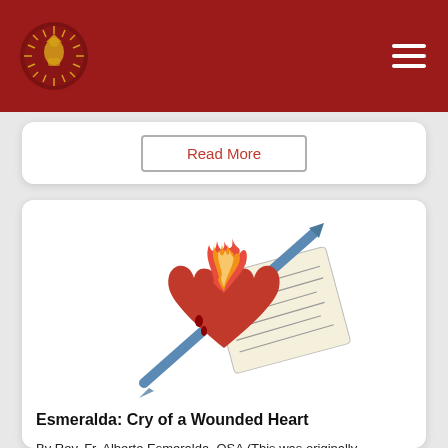Augustinian Order website header with logo and hamburger menu
Read More
[Figure (illustration): Illustration of a flaming sacred heart pierced by a sword/quill, with a piece of parchment/book behind it, in warm red and orange tones]
Esmeralda: Cry of a Wounded Heart
By Rev. Fr. Alberto Esmeralda, OSA (This was originally published in the Augustinian Initial Formation Congress